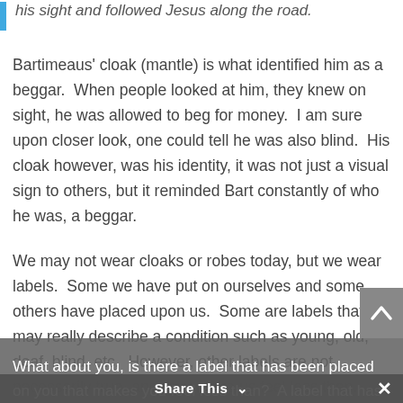his sight and followed Jesus along the road.
Bartimeaus' cloak (mantle) is what identified him as a beggar.  When people looked at him, they knew on sight, he was allowed to beg for money.  I am sure upon closer look, one could tell he was also blind.  His cloak however, was his identity, it was not just a visual sign to others, but it reminded Bart constantly of who he was, a beggar.
We may not wear cloaks or robes today, but we wear labels.  Some we have put on ourselves and some others have placed upon us.  Some are labels that may really describe a condition such as young, old, deaf, blind, etc.  However, other labels are not necessarily true, and they make us feel less than.  Yet, we readily accept them and even own them as our identity.
What about you, is there a label that has been placed on you that makes you feel less than?  A label that has
Share This